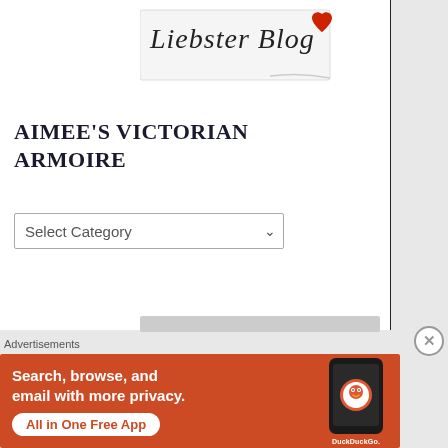[Figure (illustration): Liebster Blog award image with red heart and cursive/handwritten text]
AIMEE'S VICTORIAN ARMOIRE
Select Category
[Figure (screenshot): DuckDuckGo advertisement banner: Search, browse, and email with more privacy. All in One Free App. Shows DuckDuckGo logo on a phone mockup.]
Advertisements